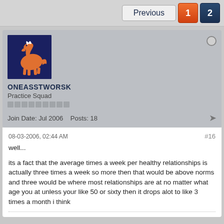Previous  1  2
[Figure (logo): Denver Broncos logo on dark navy background]
ONEASSTWORSK
Practice Squad
Join Date: Jul 2006    Posts: 18
08-03-2006, 02:44 AM   #16

well...

its a fact that the average times a week per healthy relationships is actually three times a week so more then that would be above norms and three would be where most relationships are at no matter what age you at unless your like 50 or sixty then it drops alot to like 3 times a month i think